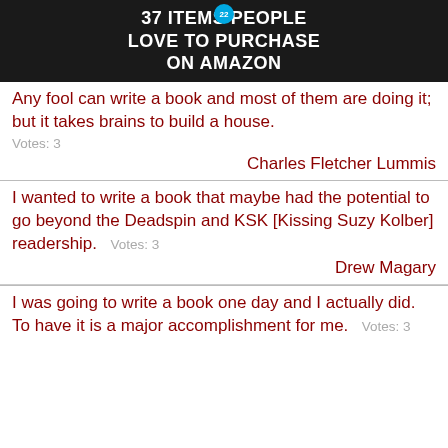[Figure (photo): Advertisement banner showing kitchen items on dark background with text '37 ITEMS PEOPLE LOVE TO PURCHASE ON AMAZON' and a circular badge with '22']
Any fool can write a book and most of them are doing it; but it takes brains to build a house.
Votes: 3
Charles Fletcher Lummis
I wanted to write a book that maybe had the potential to go beyond the Deadspin and KSK [Kissing Suzy Kolber] readership.  Votes: 3
Drew Magary
I was going to write a book one day and I actually did. To have it is a major accomplishment for me.  Votes: 3